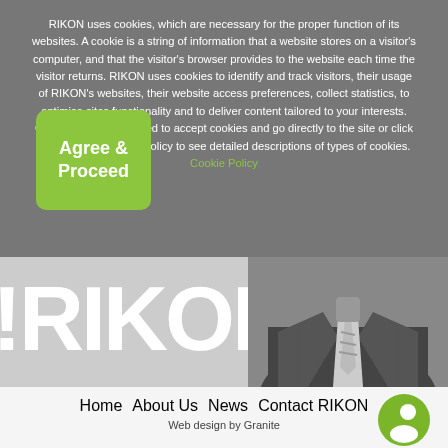RIKON uses cookies, which are necessary for the proper function of its websites. A cookie is a string of information that a website stores on a visitor's computer, and that the visitor's browser provides to the website each time the visitor returns. RIKON uses cookies to identify and track visitors, their usage of RIKON's websites, their website access preferences, collect statistics, to optimise sites functionality and to deliver content tailored to your interests. Click Agree and Proceed to accept cookies and go directly to the site or click on our View Cookies Policy to see detailed descriptions of types of cookies. Cookie Policy
[Figure (other): Agree & Proceed green button]
[Figure (logo): RIKON logo text in white on grey background, partially visible]
[Figure (photo): Black and white photo of a man in a suit with a striped tie, partially visible from chest up]
Home   About Us   News   Contact RIKON
Web design by Granite